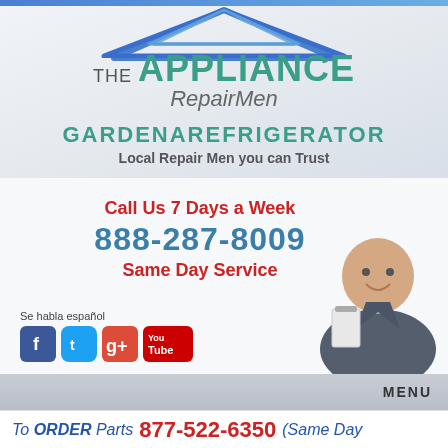[Figure (logo): The Appliance RepairMen logo with house/roof graphic in blue and teal, company name in teal and gray italic]
GARDENAREFRIGERATOR
Local Repair Men you can Trust
Call Us 7 Days a Week
888-287-8009
Same Day Service
[Figure (photo): Smiling bald male technician in gray polo shirt holding a clipboard]
Se habla español
[Figure (logo): Social media icons: Facebook, Twitter, Google+, YouTube]
MENU
To ORDER Parts  877-522-6350  (Same Day